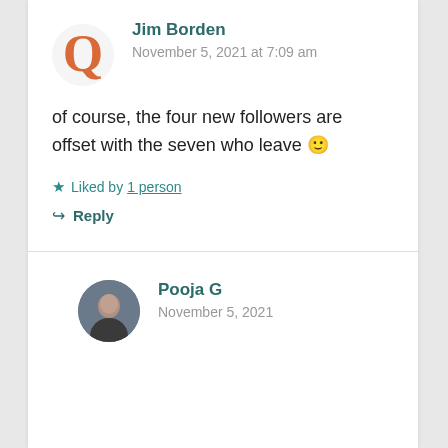Jim Borden
November 5, 2021 at 7:09 am
of course, the four new followers are offset with the seven who leave 🙂
★ Liked by 1 person
↪ Reply
Pooja G
November 5, 2021